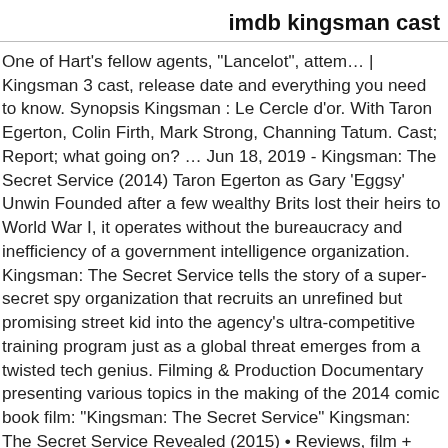imdb kingsman cast
One of Hart's fellow agents, "Lancelot", attem… | Kingsman 3 cast, release date and everything you need to know. Synopsis Kingsman : Le Cercle d'or. With Taron Egerton, Colin Firth, Mark Strong, Channing Tatum. Cast; Report; what going on? … Jun 18, 2019 - Kingsman: The Secret Service (2014) Taron Egerton as Gary 'Eggsy' Unwin Founded after a few wealthy Brits lost their heirs to World War I, it operates without the bureaucracy and inefficiency of a government intelligence organization. Kingsman: The Secret Service tells the story of a super-secret spy organization that recruits an unrefined but promising street kid into the agency's ultra-competitive training program just as a global threat emerges from a twisted tech genius. Filming & Production Documentary presenting various topics in the making of the 2014 comic book film: "Kingsman: The Secret Service" Kingsman: The Secret Service Revealed (2015) • Reviews, film + cast • Letterboxd Letterboxd — Your